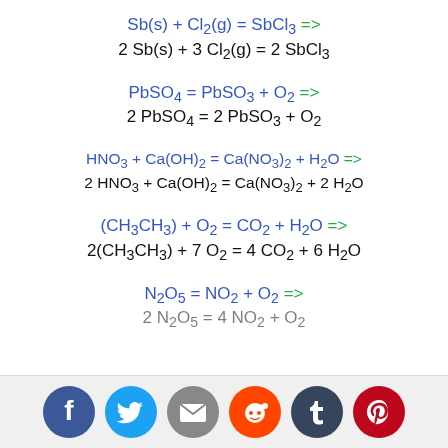[Figure (infographic): Social sharing icons: Facebook, Twitter, Email, Reddit, Tumblr, Pinterest]